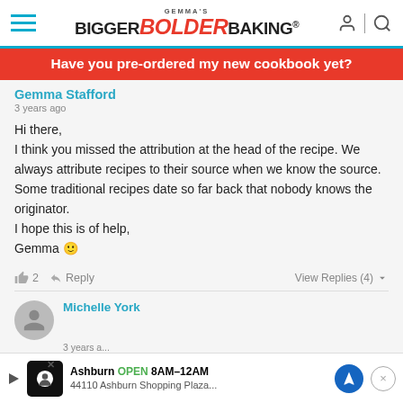[Figure (screenshot): Bigger Bolder Baking website header with hamburger menu, logo, and icons]
Have you pre-ordered my new cookbook yet?
Gemma Stafford
3 years ago
Hi there,
I think you missed the attribution at the head of the recipe. We always attribute recipes to their source when we know the source. Some traditional recipes date so far back that nobody knows the originator.
I hope this is of help,
Gemma 🙂
👍 2   Reply   View Replies (4)
Michelle York
Ashburn OPEN 8AM–12AM  44110 Ashburn Shopping Plaza...